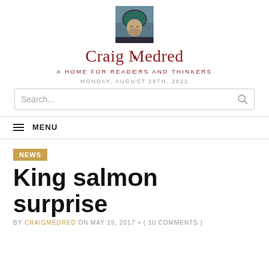[Figure (photo): Small square avatar photo of a person wearing a cycling helmet, close-up portrait style with dark/cool toned background]
Craig Medred
A HOME FOR READERS AND THINKERS
MONDAY, AUGUST 29TH, 2022
Search...
MENU
NEWS
King salmon surprise
BY CRAIGMEDRED ON MAY 19, 2017 • ( 10 COMMENTS )